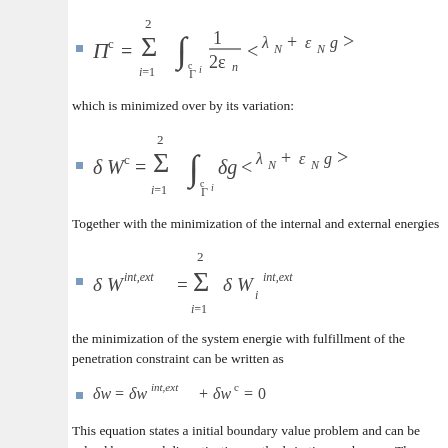which is minimized over by its variation:
Together with the minimization of the internal and external energies
the minimization of the system energie with fulfillment of the penetration constraint can be written as
This equation states a initial boundary value problem and can be solved by normal discretization methods in time and space. The algorithm for the solution of the contact problem now consists of an inner iteration